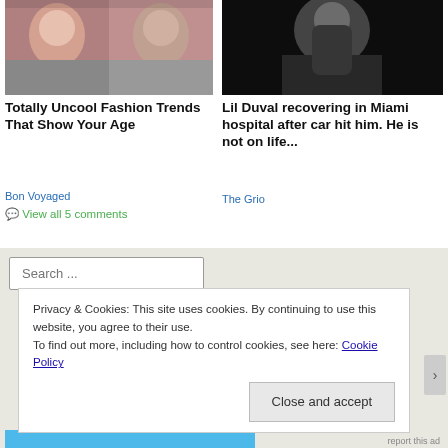[Figure (photo): Two women selfie photos side by side]
[Figure (photo): Man with microphone in dark jacket]
Totally Uncool Fashion Trends That Show Your Age
Bon Voyaged
View all 5 comments
Lil Duval recovering in Miami hospital after car hit him. He is not on life...
The Grio
Search ...
Privacy & Cookies: This site uses cookies. By continuing to use this website, you agree to their use.
To find out more, including how to control cookies, see here: Cookie Policy
Close and accept